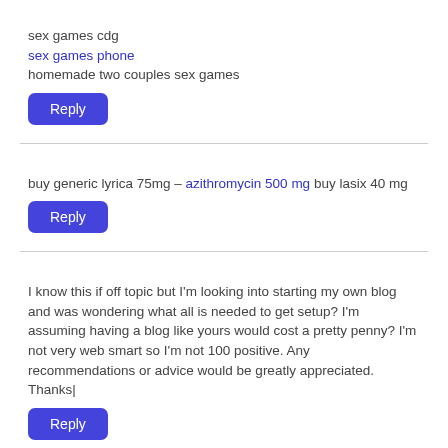sex games cdg
sex games phone
homemade two couples sex games
Reply
buy generic lyrica 75mg – azithromycin 500 mg buy lasix 40 mg
Reply
I know this if off topic but I'm looking into starting my own blog and was wondering what all is needed to get setup? I'm assuming having a blog like yours would cost a pretty penny? I'm not very web smart so I'm not 100 positive. Any recommendations or advice would be greatly appreciated. Thanks|
Reply